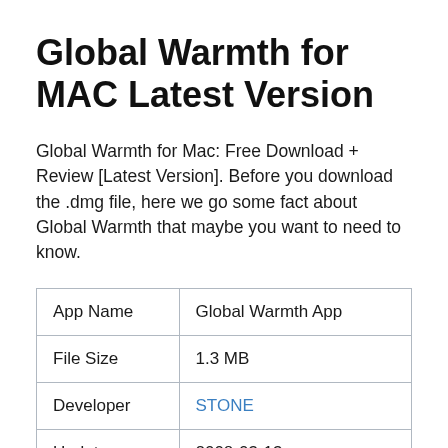Global Warmth for MAC Latest Version
Global Warmth for Mac: Free Download + Review [Latest Version]. Before you download the .dmg file, here we go some fact about Global Warmth that maybe you want to need to know.
| App Name | Global Warmth App |
| --- | --- |
| File Size | 1.3 MB |
| Developer | STONE |
| Update | 2008-03-13 |
| Version | 2.3.3 |